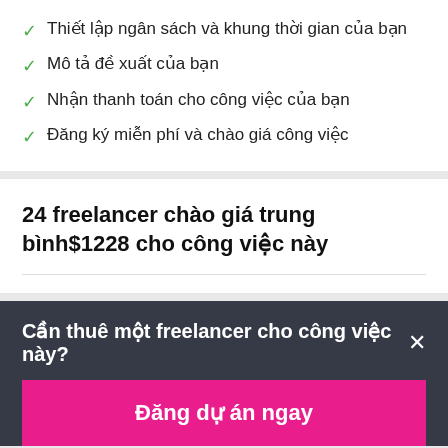Thiết lập ngân sách và khung thời gian của bạn
Mô tả đề xuất của bạn
Nhận thanh toán cho công việc của bạn
Đăng ký miễn phí và chào giá công việc
24 freelancer chào giá trung bình$1228 cho công việc này
Cần thuê một freelancer cho công việc này?
Đăng dự án ngay